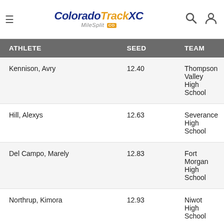ColoradoTrackXC MileSplit CO
| ATHLETE | SEED | TEAM |
| --- | --- | --- |
| Kennison, Avry | 12.40 | Thompson Valley High School |
| Hill, Alexys | 12.63 | Severance High School |
| Del Campo, Marely | 12.83 | Fort Morgan High School |
| Northrup, Kimora | 12.93 | Niwot High School |
| Gillett, Margaret | 13.09 | Niwot High School |
| Perales, Victoria | 13.17 | Northridge High School |
| Wilts, Gracie | 13.36 | Frederick High School |
| Farrington, Annie | 13.41 | Mountain View High School |
| Tortorelli Cruz, Alora | 13.44 | Riverdale Ridge High School |
| Tori, Adriana | 13.50 | Roosevelt High School |